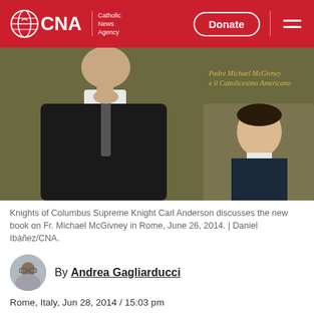CNA | Catholic News Agency — Donate
[Figure (photo): Knights of Columbus Supreme Knight Carl Anderson stands at a podium in a dark suit and tie, with a painted portrait of Fr. Michael McGivney visible behind him. Italian text on the painting reads 'Padre Michael McGivney e il Cattolicesimo Americano'.]
Knights of Columbus Supreme Knight Carl Anderson discusses the new book on Fr. Michael McGivney in Rome, June 26, 2014. | Daniel Ibáñez/CNA.
By Andrea Gagliarducci
Rome, Italy, Jun 28, 2014 / 15:03 pm